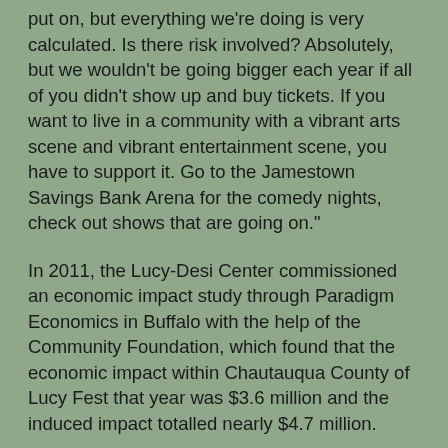put on, but everything we're doing is very calculated. Is there risk involved? Absolutely, but we wouldn't be going bigger each year if all of you didn't show up and buy tickets. If you want to live in a community with a vibrant arts scene and vibrant entertainment scene, you have to support it. Go to the Jamestown Savings Bank Arena for the comedy nights, check out shows that are going on."
In 2011, the Lucy-Desi Center commissioned an economic impact study through Paradigm Economics in Buffalo with the help of the Community Foundation, which found that the economic impact within Chautauqua County of Lucy Fest that year was $3.6 million and the induced impact totalled nearly $4.7 million.
With the backing of the two foundations, the Lucy-Desi Center has delved into the pre-development, master plan phase and announced at Friday's event that they've contracted one of the world's most prominent exhibit and museum attraction designers and developers, Jack Rouse Associates.